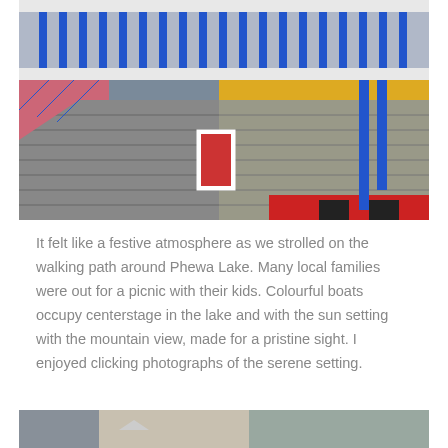[Figure (photo): Colorful stone building with blue and white railings, staircases, and a stone wall. The structure features blue painted balusters, a yellow painted upper wall section, and a small doorway with a red interior. Red and black painted steps are visible in the foreground.]
It felt like a festive atmosphere as we strolled on the walking path around Phewa Lake. Many local families were out for a picnic with their kids. Colourful boats occupy centerstage in the lake and with the sun setting with the mountain view, made for a pristine sight. I enjoyed clicking photographs of the serene setting.
[Figure (photo): Partial view of another photograph at the bottom of the page, showing the beginning of another scene.]